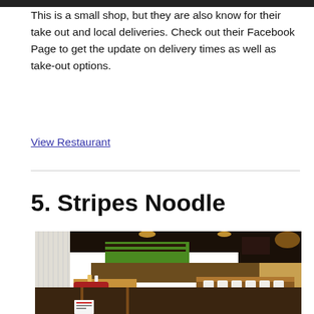This is a small shop, but they are also know for their take out and local deliveries. Check out their Facebook Page to get the update on delivery times as well as take-out options.
View Restaurant
5. Stripes Noodle
[Figure (photo): Interior of Stripes Noodle restaurant showing dining tables, red booth seating, white chairs along a counter, a green-accented bar area with shelving and equipment in the background.]